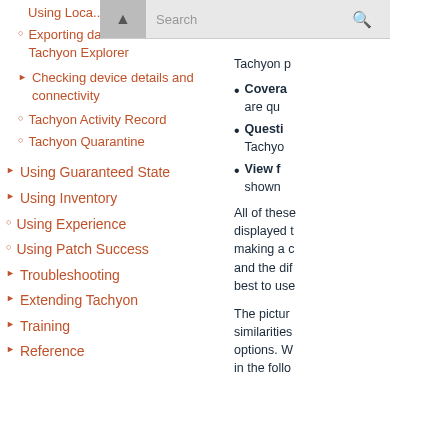Using Loca...
Exporting data from Tachyon Explorer
Checking device details and connectivity
Tachyon Activity Record
Tachyon Quarantine
Using Guaranteed State
Using Inventory
Using Experience
Using Patch Success
Troubleshooting
Extending Tachyon
Training
Reference
Tachyon p
Coverage - are qu
Questions - Tachyo
View f - shown
All of these displayed t making a c and the dif best to use
The pictur similarities options. W in the follo